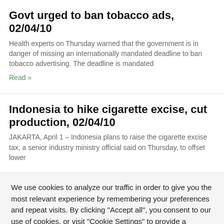Govt urged to ban tobacco ads, 02/04/10
Health experts on Thursday warned that the government is in danger of missing an internationally mandated deadline to ban tobacco advertising. The deadline is mandated
Read »
Indonesia to hike cigarette excise, cut production, 02/04/10
JAKARTA, April 1 – Indonesia plans to raise the cigarette excise tax, a senior industry ministry official said on Thursday, to offset lower
We use cookies to analyze our traffic in order to give you the most relevant experience by remembering your preferences and repeat visits. By clicking "Accept all", you consent to our use of cookies, or visit "Cookie Settings" to provide a controlled consent.